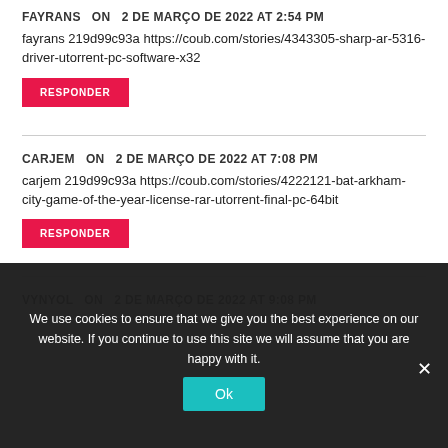FAYRANS   ON   2 DE MARÇO DE 2022 AT 2:54 PM
fayrans 219d99c93a https://coub.com/stories/4343305-sharp-ar-5316-driver-utorrent-pc-software-x32
RESPONDER
CARJEM   ON   2 DE MARÇO DE 2022 AT 7:08 PM
carjem 219d99c93a https://coub.com/stories/4222121-bat-arkham-city-game-of-the-year-license-rar-utorrent-final-pc-64bit
RESPONDER
VYNYOL   ON   2 DE MARÇO DE 2022 AT 9:08 PM
We use cookies to ensure that we give you the best experience on our website. If you continue to use this site we will assume that you are happy with it.
Ok